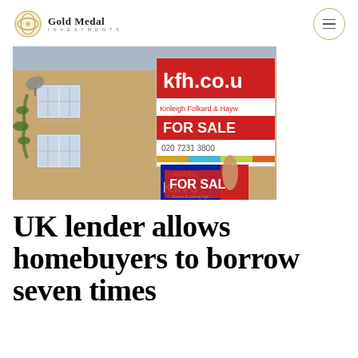Gold Medal Investments
[Figure (photo): Photograph of a UK residential building with estate agent 'For Sale' signs visible, including kfh.co.uk (Kinleigh Folkard & Hayw...) sign with 020 7231 3800 and a Samuel King estate agent board, both showing FOR SALE]
UK lender allows homebuyers to borrow seven times